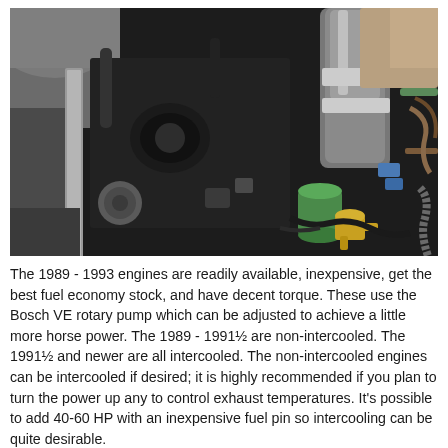[Figure (photo): Close-up photograph of a vehicle engine bay showing engine components including a large silver intake pipe/intercooler pipe, hoses, a green cylindrical filter, brass fittings, wiring, and various engine parts against a dark mechanical background.]
The 1989 - 1993 engines are readily available, inexpensive, get the best fuel economy stock, and have decent torque. These use the Bosch VE rotary pump which can be adjusted to achieve a little more horse power. The 1989 - 1991½ are non-intercooled. The 1991½ and newer are all intercooled. The non-intercooled engines can be intercooled if desired; it is highly recommended if you plan to turn the power up any to control exhaust temperatures. It's possible to add 40-60 HP with an inexpensive fuel pin so intercooling can be quite desirable.